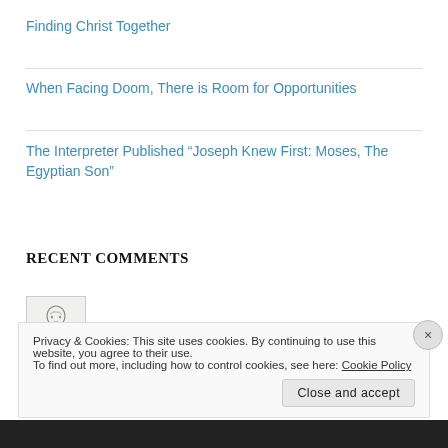Finding Christ Together
When Facing Doom, There is Room for Opportunities
The Interpreter Published “Joseph Knew First: Moses, The Egyptian Son”
RECENT COMMENTS
nathanwritesstuff on The Interpreter to Publish,...
Privacy & Cookies: This site uses cookies. By continuing to use this website, you agree to their use.
To find out more, including how to control cookies, see here: Cookie Policy
Close and accept